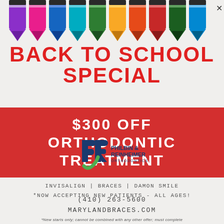[Figure (illustration): Row of colorful crayons (purple, magenta, blue, green, yellow, orange, red, dark green) pointing downward at top of page]
BACK TO SCHOOL SPECIAL
$300 OFF ORTHODONTIC TREATMENT
INVISALIGN | BRACES | DAMON SMILE
*NOW ACCEPTING NEW PATIENTS - ALL AGES!
[Figure (logo): Philbin & Reinheimer Orthodontics logo with stylized P and R letters in blue and green]
(410) 263-5600
MARYLANDBRACES.COM
*New starts only; cannot be combined with any other offer; must complete